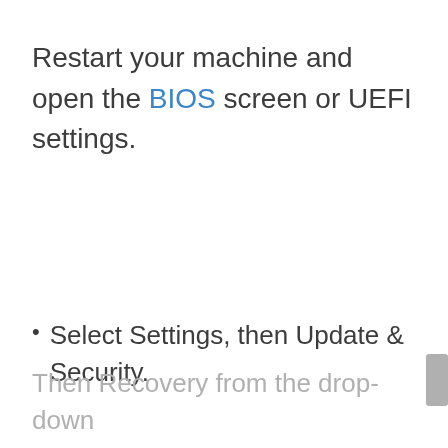Restart your machine and open the BIOS screen or UEFI settings.
Select Settings, then Update & Security.
Then Recovery from the drop-down